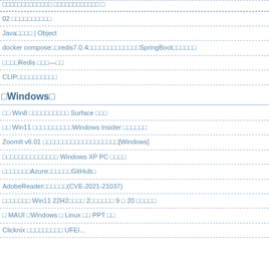02 □□□□□□□□□□
Java□□□□ | Object
docker compose□□redis7.0.4□□□□□□□□□□□□□SpringBoot□□□□□□
□□□□Redis □□□—□□
CLIP□□□□□□□□□□
□Windows□
□□ Win8 □□□□□□□□□□ Surface □□□
□□ Win11 □□□□□□□□□□Windows Insider □□□□□□
ZoomIt v6.01 □□□□□□□□□□□□□□□□□□□[Windows]
□□□□□□□□□□□□□□ Windows XP PC □□□□
□□□□□□□Azure□□□□□□GitHub□
AdobeReader□□□□□□(CVE-2021-21037)
□□□□□□□ Win11 22H2□□□□ 2□□□□□□ 9 □ 20 □□□□□
□ MAUI □Windows □ Linux □□ PPT □□
Clicknix □□□□□□□□□ UFEI...